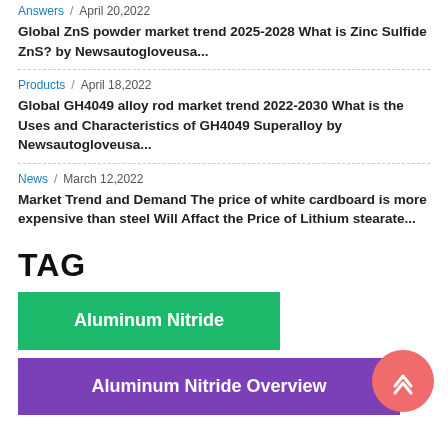Answers / April 20,2022
Global ZnS powder market trend 2025-2028 What is Zinc Sulfide ZnS? by Newsautogloveusa...
Products / April 18,2022
Global GH4049 alloy rod market trend 2022-2030 What is the Uses and Characteristics of GH4049 Superalloy by Newsautogloveusa...
News / March 12,2022
Market Trend and Demand The price of white cardboard is more expensive than steel Will Affact the Price of Lithium stearate...
TAG
Aluminum Nitride
Aluminum Nitride Overview